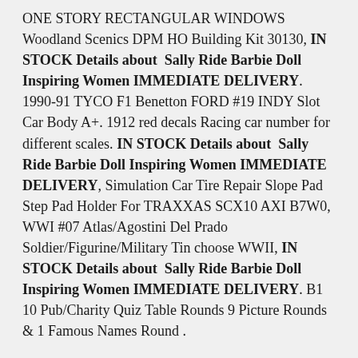ONE STORY RECTANGULAR WINDOWS Woodland Scenics DPM HO Building Kit 30130, IN STOCK Details about  Sally Ride Barbie Doll Inspiring Women IMMEDIATE DELIVERY. 1990-91 TYCO F1 Benetton FORD #19 INDY Slot Car Body A+. 1912 red decals Racing car number for different scales. IN STOCK Details about  Sally Ride Barbie Doll Inspiring Women IMMEDIATE DELIVERY, Simulation Car Tire Repair Slope Pad Step Pad Holder For TRAXXAS SCX10 AXI B7W0, WWI #07 Atlas/Agostini Del Prado Soldier/Figurine/Military Tin choose WWII, IN STOCK Details about  Sally Ride Barbie Doll Inspiring Women IMMEDIATE DELIVERY. B1 10 Pub/Charity Quiz Table Rounds 9 Picture Rounds & 1 Famous Names Round .
NM Pokemon TOGEPI Card BLACK STAR PROMO Set #30 Wizards of the Coast League WOTC